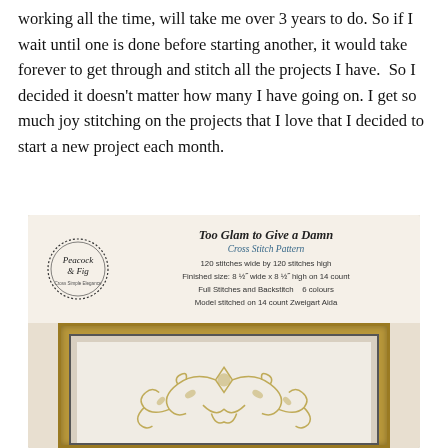working all the time, will take me over 3 years to do. So if I wait until one is done before starting another, it would take forever to get through and stitch all the projects I have.  So I decided it doesn't matter how many I have going on. I get so much joy stitching on the projects that I love that I decided to start a new project each month.
[Figure (photo): Photo of a Peacock & Fig cross stitch pattern packet titled 'Too Glam to Give a Damn Cross Stitch Pattern', showing logo, pattern details (120 stitches wide by 120 stitches high, Finished size: 8 1/2 wide x 8 1/2 high on 14 count, Full Stitches and Backstitch 6 colours, Model stitched on 14 count Zweigart Aida), and a framed cross stitch embroidery sample with gold decorative scrollwork design.]